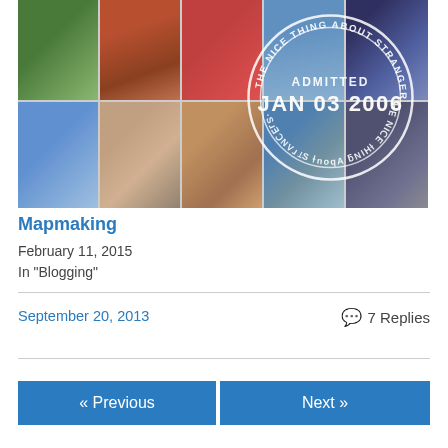[Figure (photo): Photo collage of travel images with a circular passport stamp overlay reading 'THE NICE THING ABOUT STRANGERS' around the edge and 'ADMITTED JAN 03 2006' in the center]
Mapmaking
February 11, 2015
In "Blogging"
September 20, 2013
7 Replies
« Previous
Next »